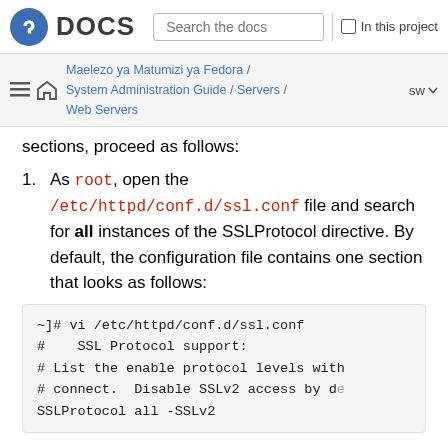Fedora DOCS | Search the docs | In this project
Maelezo ya Matumizi ya Fedora / System Administration Guide / Servers / Web Servers | sw
sections, proceed as follows:
As root, open the /etc/httpd/conf.d/ssl.conf file and search for all instances of the SSLProtocol directive. By default, the configuration file contains one section that looks as follows:
~]# vi /etc/httpd/conf.d/ssl.conf
#    SSL Protocol support:
# List the enable protocol levels with
# connect.  Disable SSLv2 access by d
SSLProtocol all -SSLv2